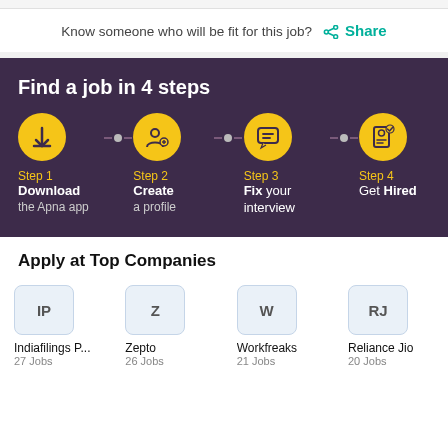Know someone who will be fit for this job?  Share
[Figure (infographic): Find a job in 4 steps infographic on dark purple background. Step 1: Download the Apna app (download icon), Step 2: Create a profile (person with plus icon), Step 3: Fix your interview (chat bubble icon), Step 4: Get Hired (ID card check icon). Steps connected by dashed line with dots.]
Apply at Top Companies
[Figure (other): Four company logos in rounded square boxes: IP (Indiafilings P..., 27 Jobs), Z (Zepto, 26 Jobs), W (Workfreaks, 21 Jobs), RJ (Reliance Jio, 20 Jobs)]